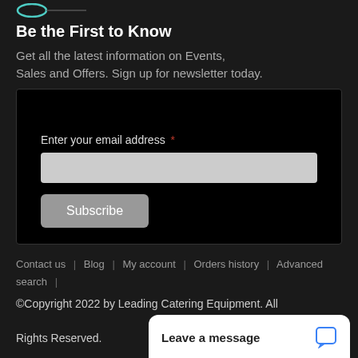[Figure (logo): Partial logo image at top left]
Be the First to Know
Get all the latest information on Events, Sales and Offers. Sign up for newsletter today.
Enter your email address *
Subscribe
Contact us | Blog | My account | Orders history | Advanced search |
©Copyright 2022 by Leading Catering Equipment. All Rights Reserved.
Leave a message